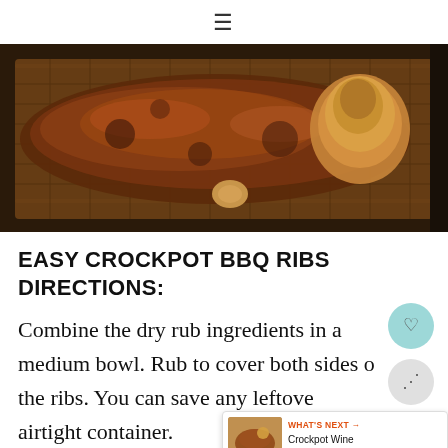≡
[Figure (photo): BBQ ribs in a metal baking tray inside an oven, showing glazed, caramelized meat with a roasted onion on a wire rack.]
EASY CROCKPOT BBQ RIBS DIRECTIONS:
Combine the dry rub ingredients in a medium bowl. Rub to cover both sides of the ribs. You can save any leftover in an airtight container.